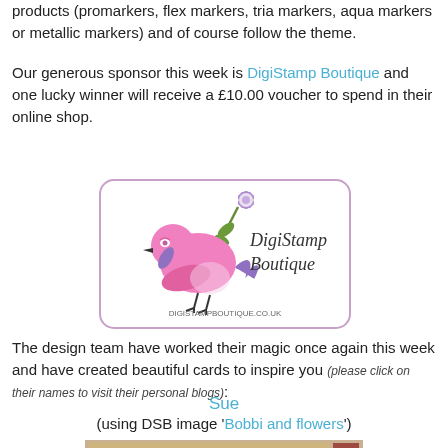products (promarkers, flex markers, tria markers, aqua markers or metallic markers) and of course follow the theme.
Our generous sponsor this week is DigiStamp Boutique and one lucky winner will receive a £10.00 voucher to spend in their online shop.
[Figure (logo): DigiStamp Boutique logo featuring a pink bird holding a purple flower with text 'DigiStamp Boutique' and 'DIGISTAMPBOUTIQUE.CO.UK']
The design team have worked their magic once again this week and have created beautiful cards to inspire you (please click on their names to visit their personal blogs):
Sue
(using DSB image 'Bobbi and flowers')
[Figure (photo): Partial view of a card or craft project at the bottom of the page]